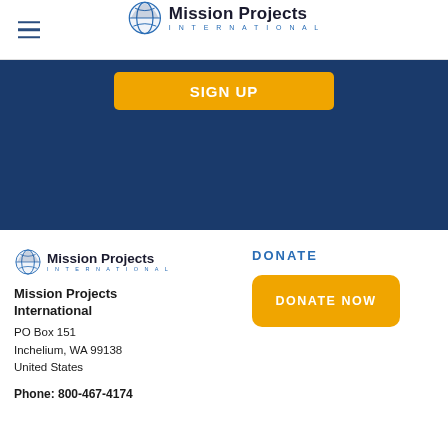Mission Projects International
[Figure (other): Dark blue banner section with orange SIGN UP button partially visible]
[Figure (logo): Mission Projects International logo with globe icon]
Mission Projects International
PO Box 151
Inchelium, WA 99138
United States
DONATE
DONATE NOW
Phone: 800-467-4174